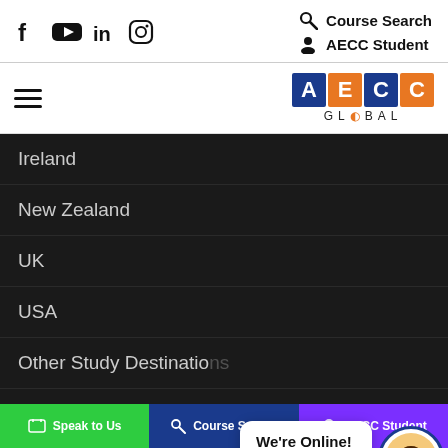[Figure (screenshot): Social media icons: Facebook, YouTube, LinkedIn, Instagram]
Course Search
AECC Student
[Figure (logo): AECC Global logo with colored letter blocks and GLOBAL text below]
Ireland
New Zealand
UK
USA
Other Study Destinations
Popular Courses
Architecture and Building
We're Online!
How may I help you today?
Speak to Us   Course Search   AECC Student